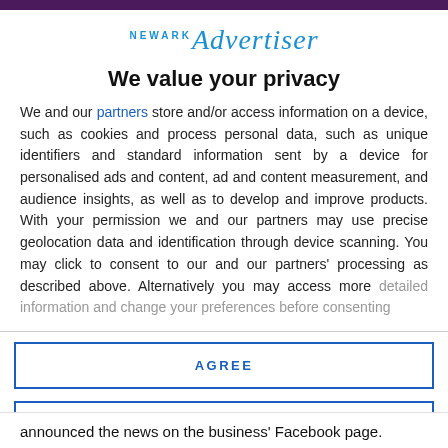[Figure (logo): Newark Advertiser logo in blue italic serif font]
We value your privacy
We and our partners store and/or access information on a device, such as cookies and process personal data, such as unique identifiers and standard information sent by a device for personalised ads and content, ad and content measurement, and audience insights, as well as to develop and improve products. With your permission we and our partners may use precise geolocation data and identification through device scanning. You may click to consent to our and our partners' processing as described above. Alternatively you may access more detailed information and change your preferences before consenting
AGREE
MORE OPTIONS
announced the news on the business' Facebook page.